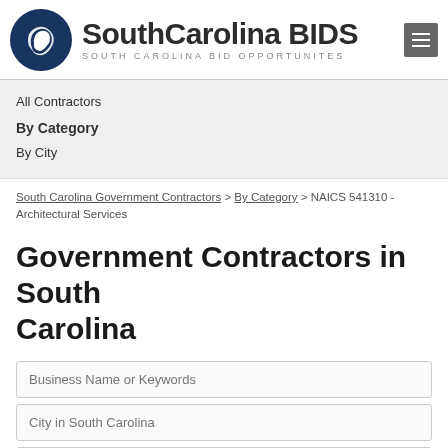[Figure (logo): South Carolina BIDS logo with dark blue circular state outline icon and bold text 'SouthCarolina BIDS' with subtitle 'SOUTH CAROLINA BID OPPORTUNITES']
All Contractors
By Category
By City
South Carolina Government Contractors > By Category > NAICS 541310 - Architectural Services
Government Contractors in South Carolina
Business Name or Keywords
City in South Carolina
541310